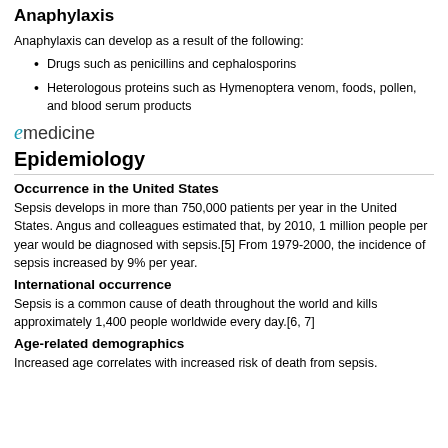Anaphylaxis
Anaphylaxis can develop as a result of the following:
Drugs such as penicillins and cephalosporins
Heterologous proteins such as Hymenoptera venom, foods, pollen, and blood serum products
[Figure (logo): eMedicine logo with stylized italic 'e' in teal/cyan color followed by 'medicine' in grey]
Epidemiology
Occurrence in the United States
Sepsis develops in more than 750,000 patients per year in the United States. Angus and colleagues estimated that, by 2010, 1 million people per year would be diagnosed with sepsis.[5] From 1979-2000, the incidence of sepsis increased by 9% per year.
International occurrence
Sepsis is a common cause of death throughout the world and kills approximately 1,400 people worldwide every day.[6, 7]
Age-related demographics
Increased age correlates with increased risk of death from sepsis.